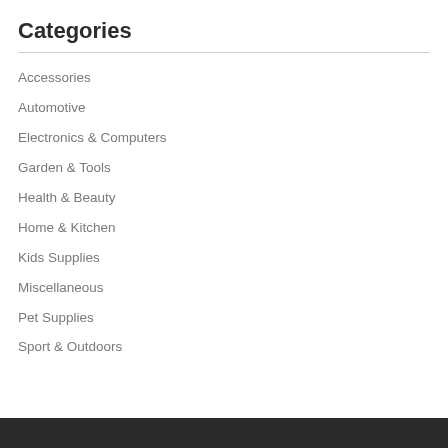Categories
Accessories
Automotive
Electronics & Computers
Garden & Tools
Health & Beauty
Home & Kitchen
Kids Supplies
Miscellaneous
Pet Supplies
Sport & Outdoors